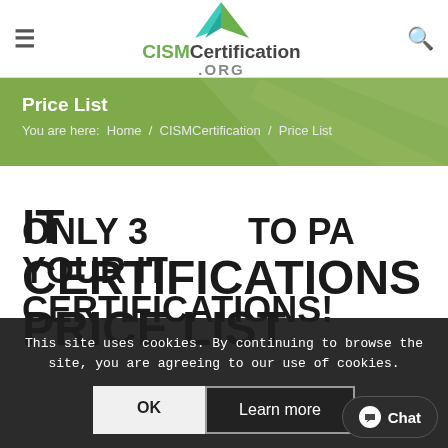CISMCertification.ORG
Price List
You are here:  Home / CISMCertification / Price List
IT CERTIFICATIONS PRICE LIST
This site uses cookies. By continuing to browse the site, you are agreeing to our use of cookies.
ONLY 3... TO PASS YOUR IT CERTIFICATIONS!